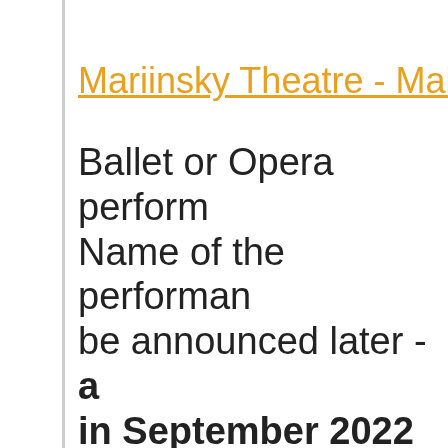Mariinsky Theatre - Main S
Ballet or Opera perform Name of the performan be announced later - a in September 2022 Please leave a request schedule for this date t 15% early booking disc and best seats